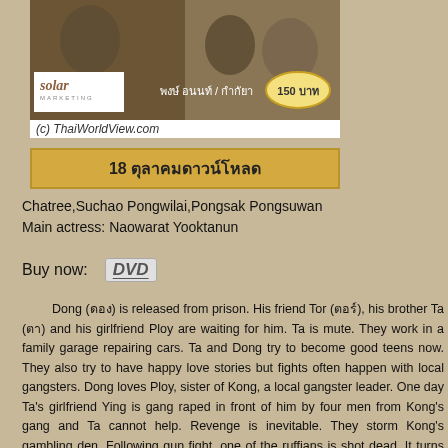[Figure (photo): Movie DVD cover image showing figures in sepia/dark tones with Solar Marketing logo and price 150 บาท]
(c) ThaiWorldView.com
18 ตุลาคม ดาวน์โหลด
Chatree,Suchao Pongwilai,Pongsak Pongsuwan
Main actress: Naowarat Yooktanun
Buy now: DVD
Dong (ดอง) is released from prison. His friend Tor (ตอร์), his brother Ta (ตา) and his girlfriend Ploy are waiting for him. Ta is mute. They work in a family garage repairing cars. Ta and Dong try to become good teens now. They also try to have happy love stories but fights often happen with local gangsters. Dong loves Ploy, sister of Kong, a local gangster leader. One day Ta's girlfriend Ying is gang raped in front of him by four men from Kong's gang and Ta cannot help. Revenge is inevitable. They storm Kong's gambling den. Following gun fight, one of the ruffians is shot dead. It turns badly (ตุลาคมดาวน์โหลดเดือน). They kidnap Kong's girlfriend as protection ( ตุลาคมเดือน) and also grab a bag containing money and amphetamine drugs (ยาบ้า). Police is involved through